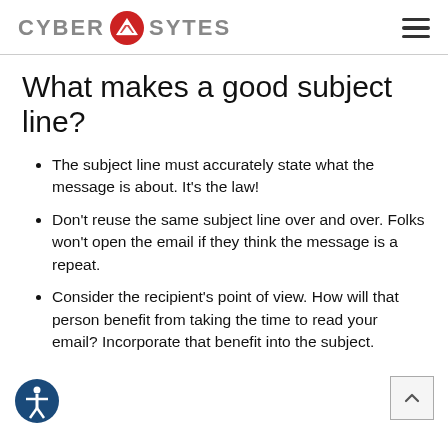CYBER [logo] SYTES
What makes a good subject line?
The subject line must accurately state what the message is about. It’s the law!
Don’t reuse the same subject line over and over. Folks won’t open the email if they think the message is a repeat.
Consider the recipient’s point of view. How will that person benefit from taking the time to read your email? Incorporate that benefit into the subject.